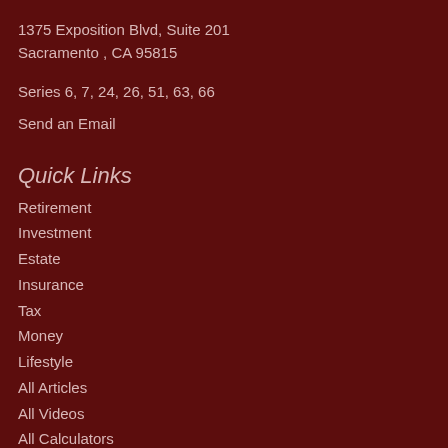1375 Exposition Blvd, Suite 201
Sacramento , CA 95815
Series 6, 7, 24, 26, 51, 63, 66
Send an Email
Quick Links
Retirement
Investment
Estate
Insurance
Tax
Money
Lifestyle
All Articles
All Videos
All Calculators
All Presentations